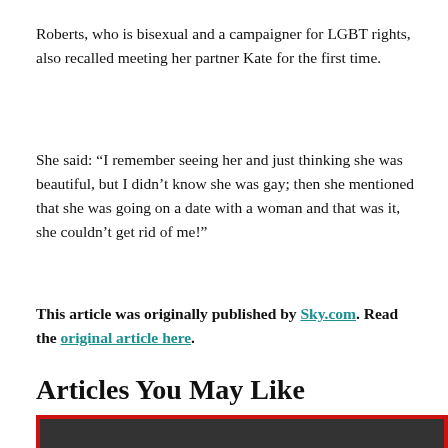Roberts, who is bisexual and a campaigner for LGBT rights, also recalled meeting her partner Kate for the first time.
She said: “I remember seeing her and just thinking she was beautiful, but I didn’t know she was gay; then she mentioned that she was going on a date with a woman and that was it, she couldn’t get rid of me!”
This article was originally published by Sky.com. Read the original article here.
Articles You May Like
[Figure (photo): Partial photo visible at the bottom of the page with a red border frame, showing a dark image]